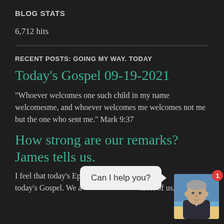BLOG STATS
6,712 hits
RECENT POSTS: GOING MY WAY. TODAY
Today's Gospel 09-19-2021
“Whoever welcomes one such child in my name welcomesme, and whoever welcomes me welcomes not me but the one who sent me.” Mark 9:37
How strong are our remarks? James tells us.
I feel that today’s Epi[stle complements] th[e] today’s Gospel. We a[re all aware, or at least most of us,]
[Figure (photo): Chat bubble overlay with text 'Can I help you?' and a photo of a man with gray hair in a dark jacket, with a red notification badge showing '1']